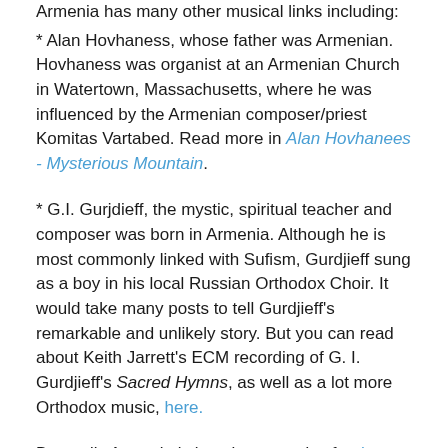Armenia has many other musical links including:
* Alan Hovhaness, whose father was Armenian. Hovhaness was organist at an Armenian Church in Watertown, Massachusetts, where he was influenced by the Armenian composer/priest Komitas Vartabed. Read more in Alan Hovhanees - Mysterious Mountain.
* G.I. Gurjdieff, the mystic, spiritual teacher and composer was born in Armenia. Although he is most commonly linked with Sufism, Gurdjieff sung as a boy in his local Russian Orthodox Choir. It would take many posts to tell Gurdjieff's remarkable and unlikely story. But you can read about Keith Jarrett's ECM recording of G. I. Gurdjieff's Sacred Hymns, as well as a lot more Orthodox music, here.
But sadly Armenia is best known today for the terrible 1915 genocide in which more than one million Armenians were killed. The subject of that humanitarian tragedy came up when